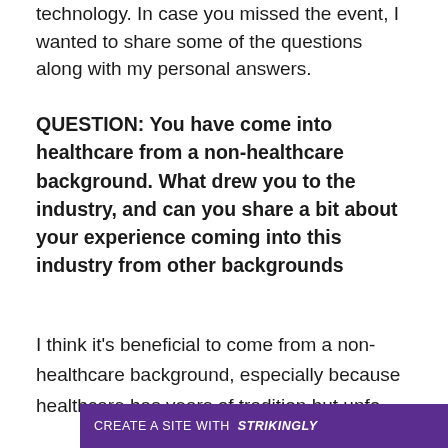technology. In case you missed the event, I wanted to share some of the questions along with my personal answers.
QUESTION: You have come into healthcare from a non-healthcare background. What drew you to the industry, and can you share a bit about your experience coming into this industry from other backgrounds
I think it's beneficial to come from a non-healthcare background, especially because healthcare has years of tradition but unfo[rtunate]d
CREATE A SITE WITH strikingly